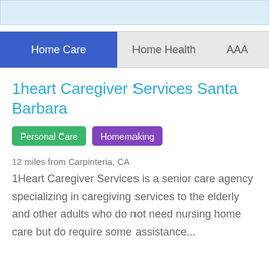[Figure (other): Top light blue banner strip]
Home Care | Home Health | AAA
1heart Caregiver Services Santa Barbara
Personal Care
Homemaking
12 miles from Carpinteria, CA
1Heart Caregiver Services is a senior care agency specializing in caregiving services to the elderly and other adults who do not need nursing home care but do require some assistance...